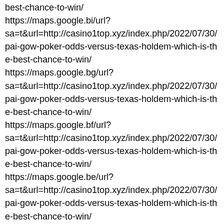best-chance-to-win/
https://maps.google.bi/url?sa=t&url=http://casino1top.xyz/index.php/2022/07/30/pai-gow-poker-odds-versus-texas-holdem-which-is-the-best-chance-to-win/
https://maps.google.bg/url?sa=t&url=http://casino1top.xyz/index.php/2022/07/30/pai-gow-poker-odds-versus-texas-holdem-which-is-the-best-chance-to-win/
https://maps.google.bf/url?sa=t&url=http://casino1top.xyz/index.php/2022/07/30/pai-gow-poker-odds-versus-texas-holdem-which-is-the-best-chance-to-win/
https://maps.google.be/url?sa=t&url=http://casino1top.xyz/index.php/2022/07/30/pai-gow-poker-odds-versus-texas-holdem-which-is-the-best-chance-to-win/
https://maps.google.ba/url?sa=t&url=http://casino1top.xyz/index.php/2022/07/30/pai-gow-poker-odds-versus-texas-holdem-which-is-the-best-chance-to-win/